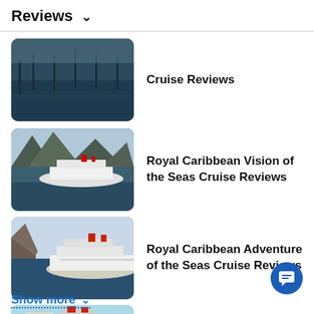Reviews ∨
Cruise Reviews
Royal Caribbean Vision of the Seas Cruise Reviews
Royal Caribbean Adventure of the Seas Cruise Reviews
Royal Caribbean Oasis of the Seas Cruise Reviews
Show more ∨